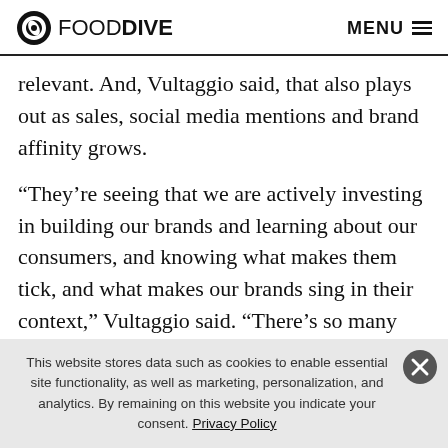FOOD DIVE  MENU
relevant. And, Vultaggio said, that also plays out as sales, social media mentions and brand affinity grows.
“They’re seeing that we are actively investing in building our brands and learning about our consumers, and knowing what makes them tick, and what makes our brands sing in their context,” Vultaggio said. “There’s so many metrics that flow from it, but relevance is something that I think we felt we’ve been losing — but
This website stores data such as cookies to enable essential site functionality, as well as marketing, personalization, and analytics. By remaining on this website you indicate your consent. Privacy Policy